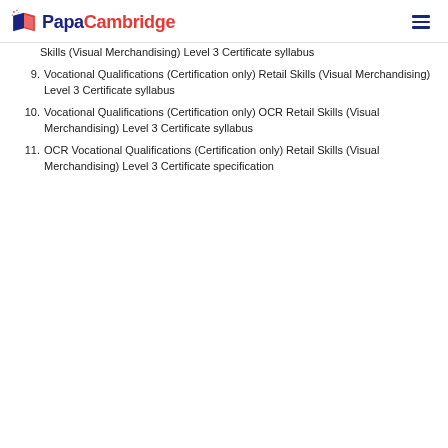PapaCambridge
Skills (Visual Merchandising) Level 3 Certificate syllabus
9. Vocational Qualifications (Certification only) Retail Skills (Visual Merchandising) Level 3 Certificate syllabus
10. Vocational Qualifications (Certification only) OCR Retail Skills (Visual Merchandising) Level 3 Certificate syllabus
11. OCR Vocational Qualifications (Certification only) Retail Skills (Visual Merchandising) Level 3 Certificate specification